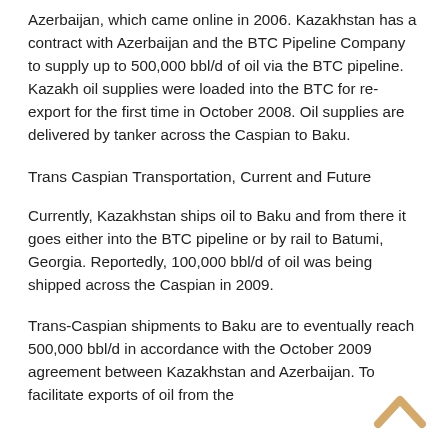Azerbaijan, which came online in 2006. Kazakhstan has a contract with Azerbaijan and the BTC Pipeline Company to supply up to 500,000 bbl/d of oil via the BTC pipeline. Kazakh oil supplies were loaded into the BTC for re-export for the first time in October 2008. Oil supplies are delivered by tanker across the Caspian to Baku.
Trans Caspian Transportation, Current and Future
Currently, Kazakhstan ships oil to Baku and from there it goes either into the BTC pipeline or by rail to Batumi, Georgia. Reportedly, 100,000 bbl/d of oil was being shipped across the Caspian in 2009.
Trans-Caspian shipments to Baku are to eventually reach 500,000 bbl/d in accordance with the October 2009 agreement between Kazakhstan and Azerbaijan. To facilitate exports of oil from the